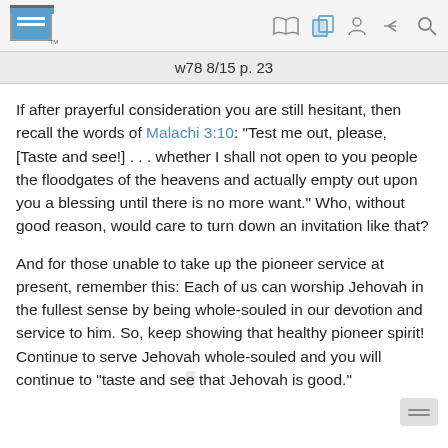w78 8/15 p. 23
If after prayerful consideration you are still hesitant, then recall the words of Malachi 3:10: “Test me out, please, [Taste and see!] . . . whether I shall not open to you people the floodgates of the heavens and actually empty out upon you a blessing until there is no more want.” Who, without good reason, would care to turn down an invitation like that?
And for those unable to take up the pioneer service at present, remember this: Each of us can worship Jehovah in the fullest sense by being whole-souled in our devotion and service to him. So, keep showing that healthy pioneer spirit! Continue to serve Jehovah whole-souled and you will continue to “taste and see that Jehovah is good.”